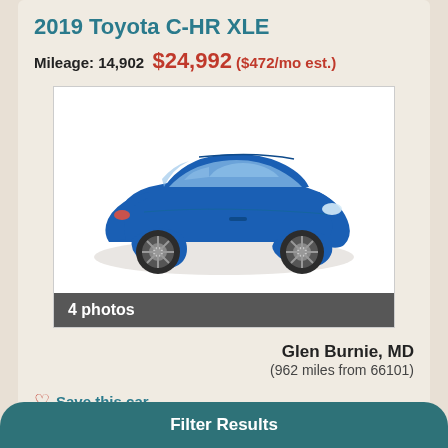2019 Toyota C-HR XLE
Mileage: 14,902  $24,992 ($472/mo est.)
[Figure (photo): Blue 2019 Toyota C-HR XLE SUV, side profile view. Shows '4 photos' bar at the bottom of the image.]
Glen Burnie, MD
(962 miles from 66101)
Save this car
Call
Email
Filter Results